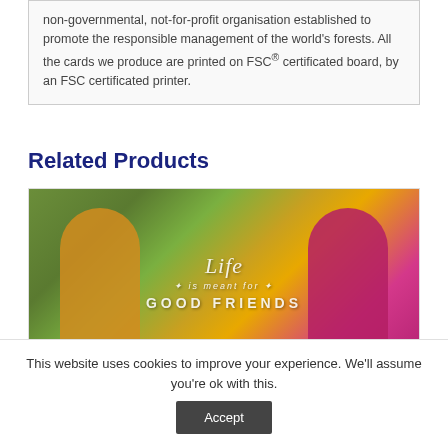non-governmental, not-for-profit organisation established to promote the responsible management of the world's forests. All the cards we produce are printed on FSC® certificated board, by an FSC certificated printer.
Related Products
[Figure (photo): Two children seen from behind wearing superhero capes, one in yellow/gold with a lightning bolt, one in pink/magenta with a white heart. Text overlay reads 'Life is meant for GOOD FRIENDS' in decorative script.]
This website uses cookies to improve your experience. We'll assume you're ok with this. Accept